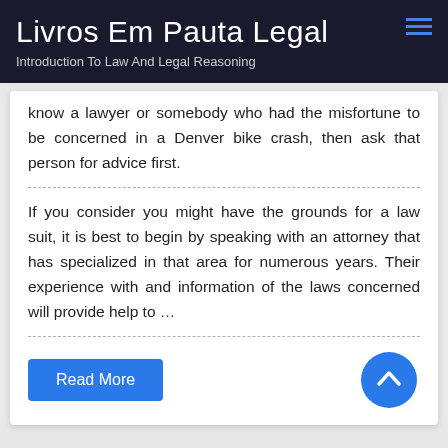Livros Em Pauta Legal
Introduction To Law And Legal Reasoning
know a lawyer or somebody who had the misfortune to be concerned in a Denver bike crash, then ask that person for advice first.
If you consider you might have the grounds for a law suit, it is best to begin by speaking with an attorney that has specialized in that area for numerous years. Their experience with and information of the laws concerned will provide help to …